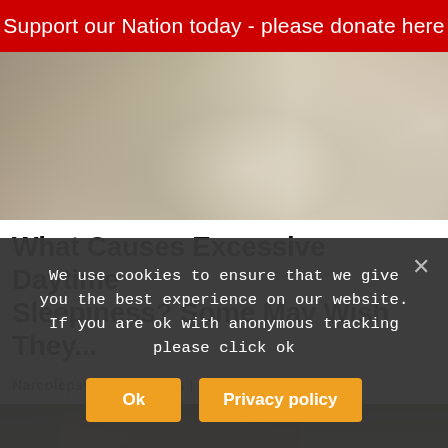Support our Nation today - please donate here
[Figure (photo): Photo of a person lying down, partially visible torso, wearing light clothing]
What Causes Excessive Daytime Sleepiness? Some May Wish They...
Narcolepsy | Search Ads | Sponsored
[Figure (photo): Photo of a wooden cabin or small house with dark roof trim, surrounded by trees]
We use cookies to ensure that we give you the best experience on our website. If you are ok with anonymous tracking please click ok